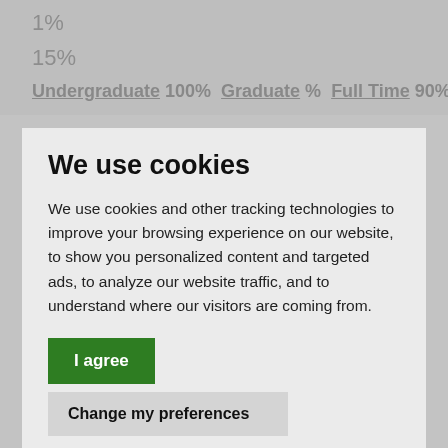1%
15%
Undergraduate 100%  Graduate %  Full Time 90%
We use cookies
We use cookies and other tracking technologies to improve your browsing experience on our website, to show you personalized content and targeted ads, to analyze our website traffic, and to understand where our visitors are coming from.
I agree
Change my preferences